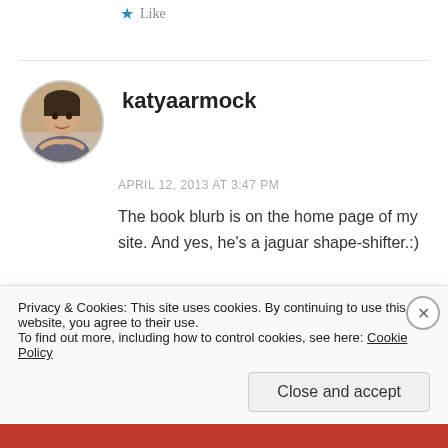Like
katyaarmock
APRIL 12, 2013 AT 3:47 PM
The book blurb is on the home page of my site. And yes, he's a jaguar shape-shifter.:)
Like
Privacy & Cookies: This site uses cookies. By continuing to use this website, you agree to their use.
To find out more, including how to control cookies, see here: Cookie Policy
Close and accept